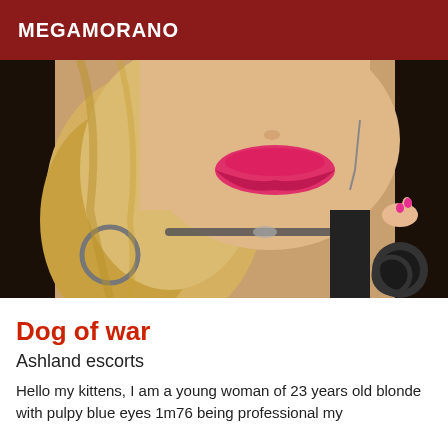MEGAMORANO
[Figure (photo): Close-up photo of a young blonde woman with pink lipstick, wearing a choker necklace and dangling earrings, with a black top.]
Dog of war
Ashland escorts
Hello my kittens, I am a young woman of 23 years old blonde with pulpy blue eyes 1m76 being professional my